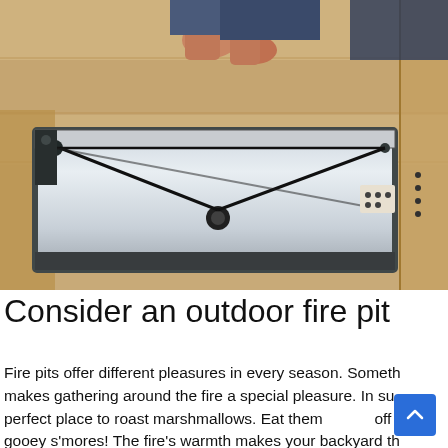[Figure (photo): A person crouching on a plywood floor, handling a large rectangular metal fire pit insert or firebox component with a cable/pulley mechanism visible on top. The metal piece is silver/aluminum colored with black cables stretched across it in a triangular pattern.]
Consider an outdoor fire pit
Fire pits offer different pleasures in every season. Someth... makes gathering around the fire a special pleasure. In su... perfect place to roast marshmallows. Eat them off the... gooey s'mores! The fire's warmth makes your backyard th...